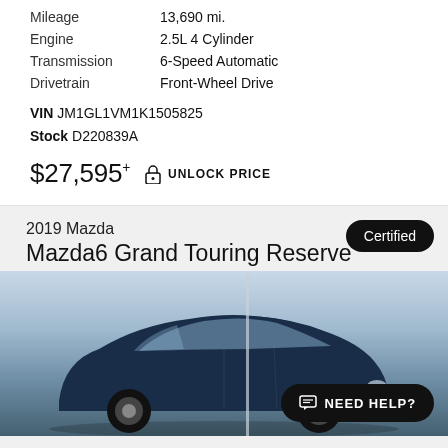| Mileage | 13,690 mi. |
| Engine | 2.5L 4 Cylinder |
| Transmission | 6-Speed Automatic |
| Drivetrain | Front-Wheel Drive |
VIN JM1GL1VM1K1505825
Stock D220839A
$27,595+ UNLOCK PRICE
Certified
2019 Mazda
Mazda6 Grand Touring Reserve
[Figure (photo): Dark navy blue 2019 Mazda Mazda6 Grand Touring Reserve sedan photographed outdoors against a light sky background]
NEED HELP?